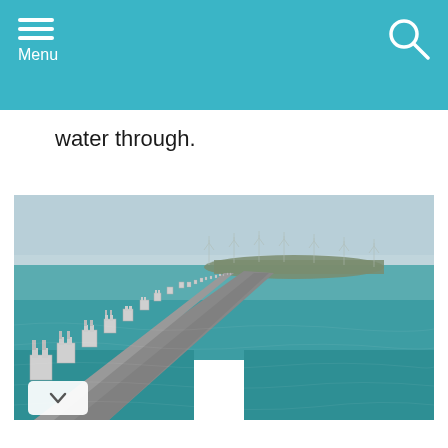Menu
water through.
[Figure (photo): Aerial view of the Eastern Scheldt storm surge barrier (Oosterscheldekering) in the Netherlands, showing a long concrete dam structure stretching across green-blue water toward a distant shoreline with wind turbines visible on the horizon.]